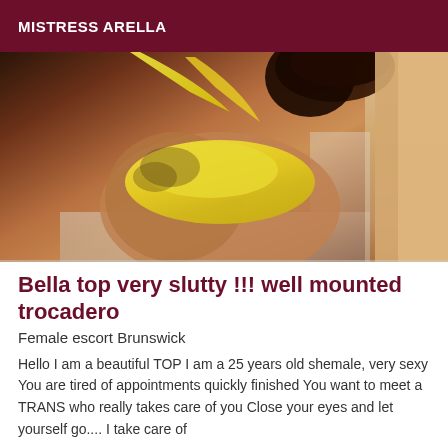MISTRESS ARELLA
[Figure (photo): Photo of a person in a yellow bikini bottom, taken from behind, with tattoos visible on the lower back/hip area. A bathroom tile floor is visible. Another person's arm is visible on the right side.]
Bella top very slutty !!! well mounted trocadero
Female escort Brunswick
Hello I am a beautiful TOP I am a 25 years old shemale, very sexy You are tired of appointments quickly finished You want to meet a TRANS who really takes care of you Close your eyes and let yourself go.... I take care of